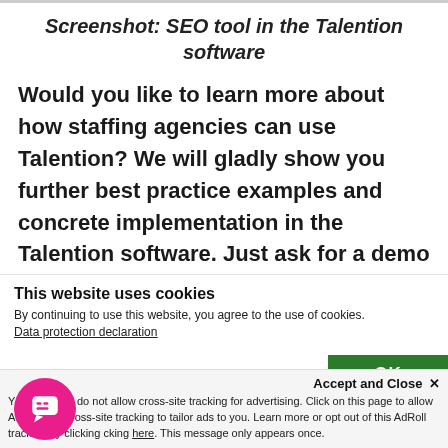Screenshot: SEO tool in the Talention software
Would you like to learn more about how staffing agencies can use Talention? We will gladly show you further best practice examples and concrete implementation in the Talention software. Just ask for a demo here and someone will get in touch with you
This website uses cookies
By continuing to use this website, you agree to the use of cookies.
Data protection declaration
[Figure (screenshot): OK button (green background)]
Accept and Close ✕
Your settings do not allow cross-site tracking for advertising. Click on this page to allow AdRoll cross-site tracking to tailor ads to you. Learn more or opt out of this AdRoll tracking by clicking here. This message only appears once.